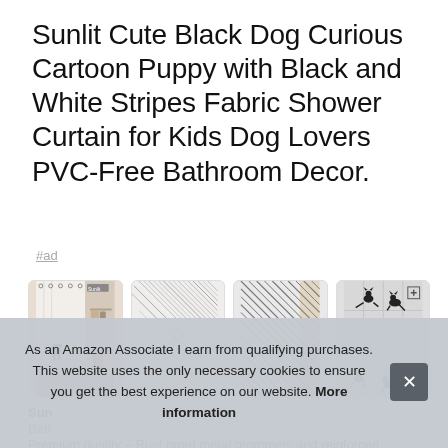Sunlit Cute Black Dog Curious Cartoon Puppy with Black and White Stripes Fabric Shower Curtain for Kids Dog Lovers PVC-Free Bathroom Decor.
#ad
[Figure (photo): Four product thumbnail images of shower curtains: first shows curtain hanging in bathroom with black dog figure, second shows diagonal stripe pattern closeup, third shows diagonal stripe pattern, fourth shows grid pattern with black cat silhouettes.]
Sun
Bett
Premium quality – Rust proof metal grommets and reinforced
As an Amazon Associate I earn from qualifying purchases. This website uses the only necessary cookies to ensure you get the best experience on our website. More information